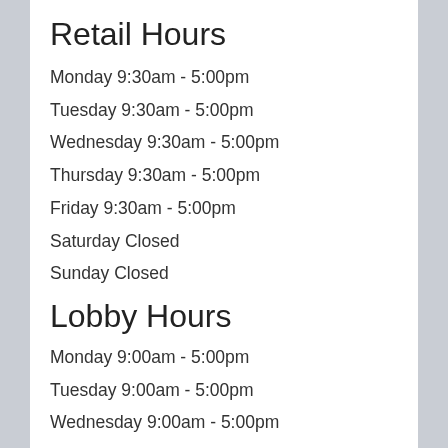Retail Hours
Monday 9:30am - 5:00pm
Tuesday 9:30am - 5:00pm
Wednesday 9:30am - 5:00pm
Thursday 9:30am - 5:00pm
Friday 9:30am - 5:00pm
Saturday Closed
Sunday Closed
Lobby Hours
Monday 9:00am - 5:00pm
Tuesday 9:00am - 5:00pm
Wednesday 9:00am - 5:00pm